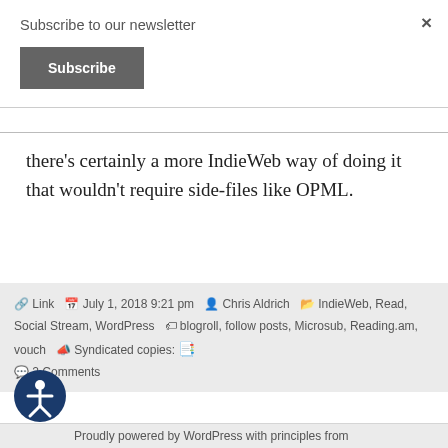Subscribe to our newsletter
Subscribe
×
there's certainly a more IndieWeb way of doing it that wouldn't require side-files like OPML.
🔗 Link  📅 July 1, 2018 9:21 pm  👤 Chris Aldrich  🗂 IndieWeb, Read, Social Stream, WordPress  🏷 blogroll, follow posts, Microsub, Reading.am, vouch  📣 Syndicated copies: 📑  💬 2 Comments
Proudly powered by WordPress with principles from